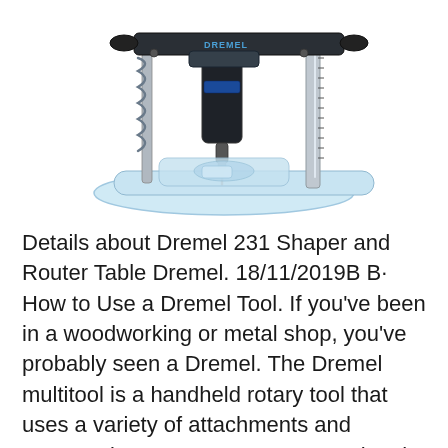[Figure (photo): Photo of a Dremel 231 Shaper and Router Table drill press attachment on a white background. The device has a black metal frame with a clear plastic base, a vertical column with measurement markings, and a Dremel rotary tool mounted vertically in the center.]
Details about Dremel 231 Shaper and Router Table Dremel. 18/11/2019B B· How to Use a Dremel Tool. If you've been in a woodworking or metal shop, you've probably seen a Dremel. The Dremel multitool is a handheld rotary tool that uses a variety of attachments and accessories. You can use a Dremel tool on wood,... The Dremel Rotary Tool